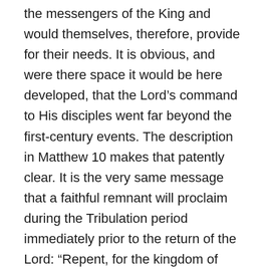the messengers of the King and would themselves, therefore, provide for their needs. It is obvious, and were there space it would be here developed, that the Lord's command to His disciples went far beyond the first-century events. The description in Matthew 10 makes that patently clear. It is the very same message that a faithful remnant will proclaim during the Tribulation period immediately prior to the return of the Lord: “Repent, for the kingdom of heaven is at hand.” And during those days, because this godly remnant of Jewish witnesses will not bow to the Antichrist and receive his mark, they will not be able to buy or sell (Repent for)